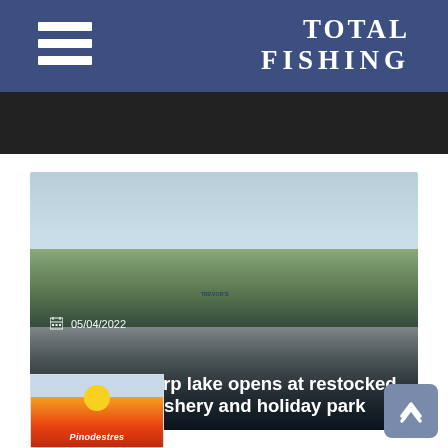TOTAL FISHING
[Figure (photo): Four people standing outdoors next to a lake with a sign reading TREVOR'S; bare trees and hills in background]
05/04/2022
Specimen carp lake opens at restocked Shropshire fishery and holiday park
[Figure (logo): Pnoadestres/Pinodestres holiday park logo with sunset and orange/red stripe design]